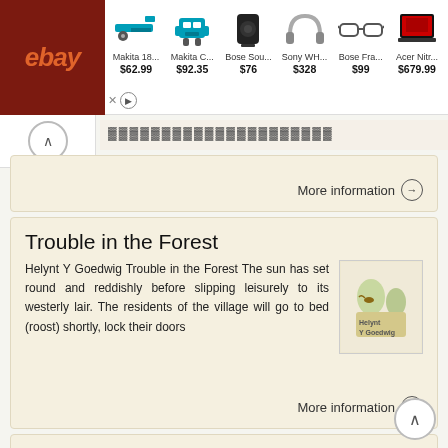[Figure (screenshot): eBay advertisement banner showing products: Makita 18... $62.99, Makita C... $92.35, Bose Sou... $76, Sony WH... $328, Bose Fra... $99, Acer Nitr... $679.99]
More information →
Trouble in the Forest
Helynt Y Goedwig Trouble in the Forest The sun has set round and reddishly before slipping leisurely to its westerly lair. The residents of the village will go to bed (roost) shortly, lock their doors
More information →
CHAPTER ONE. Exploring the Woods
CHAPTER ONE Exploring the Woods Princess Summer raced downstairs her